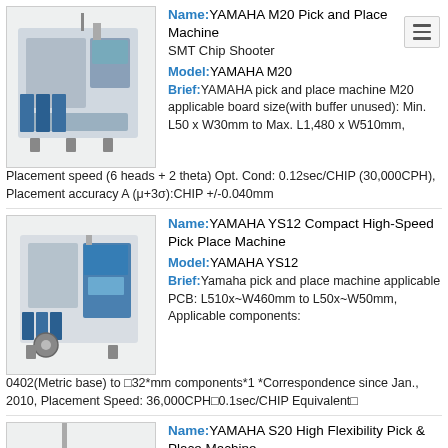[Figure (photo): YAMAHA M20 Pick and Place Machine photo, industrial SMT equipment with blue components and feeder trays]
Name: YAMAHA M20 Pick and Place Machine
SMT Chip Shooter
Model: YAMAHA M20
Brief: YAMAHA pick and place machine M20 applicable board size(with buffer unused): Min. L50 x W30mm to Max. L1,480 x W510mm, Placement speed (6 heads + 2 theta) Opt. Cond: 0.12sec/CHIP (30,000CPH), Placement accuracy A (μ+3σ):CHIP +/-0.040mm
[Figure (photo): YAMAHA YS12 Compact High-Speed Pick Place Machine photo, compact blue and white SMT machine]
Name: YAMAHA YS12 Compact High-Speed Pick Place Machine
Model: YAMAHA YS12
Brief: Yamaha pick and place machine applicable PCB: L510x~W460mm to L50x~W50mm, Applicable components: 0402(Metric base) to □32*mm components*1 *Correspondence since Jan., 2010, Placement Speed: 36,000CPH□0.1sec/CHIP Equivalent□
[Figure (photo): YAMAHA S20 High Flexibility Pick & Place Machine photo, partially visible]
Name: YAMAHA S20 High Flexibility Pick & Place Machine